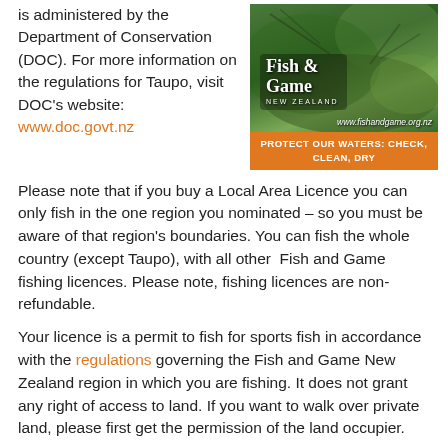is administered by the Department of Conservation (DOC). For more information on the regulations for Taupo, visit DOC's website: www.doc.govt.nz
[Figure (illustration): Fish and Game New Zealand logo and promotional image with nature background and orange bar reading 'PROTECT OUR WATERS: CHECK, CLEAN, DRY' and website www.fishandgame.org.nz]
Please note that if you buy a Local Area Licence you can only fish in the one region you nominated – so you must be aware of that region's boundaries. You can fish the whole country (except Taupo), with all other Fish and Game fishing licences. Please note, fishing licences are non-refundable.
Your licence is a permit to fish for sports fish in accordance with the regulations governing the Fish and Game New Zealand region in which you are fishing. It does not grant any right of access to land. If you want to walk over private land, please first get the permission of the land occupier.
You must have your licence with you whenever you are fishing or carrying assembled fishing gear.